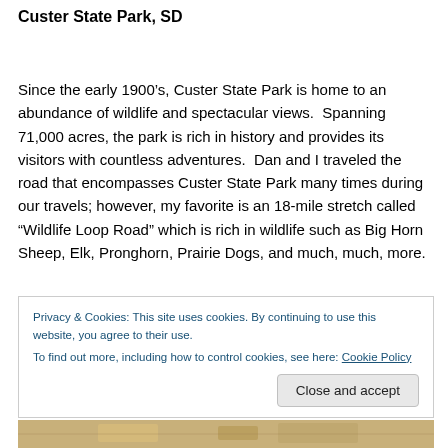Custer State Park, SD
Since the early 1900’s, Custer State Park is home to an abundance of wildlife and spectacular views.  Spanning 71,000 acres, the park is rich in history and provides its visitors with countless adventures.  Dan and I traveled the road that encompasses Custer State Park many times during our travels; however, my favorite is an 18-mile stretch called “Wildlife Loop Road” which is rich in wildlife such as Big Horn Sheep, Elk, Pronghorn, Prairie Dogs, and much, much, more.
Privacy & Cookies: This site uses cookies. By continuing to use this website, you agree to their use.
To find out more, including how to control cookies, see here: Cookie Policy
[Figure (map): Partial map strip visible at the bottom of the page]